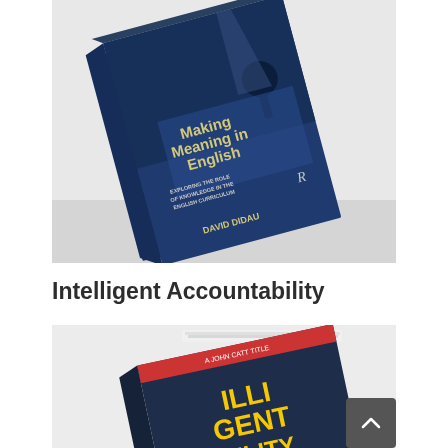[Figure (photo): Book cover photo of 'Making Meaning in English: Exploring the Role of Knowledge in the English Curriculum' by David Didau, published by Routledge. The book is shown at an angle on a light surface.]
Intelligent Accountability
[Figure (photo): Partial book cover photo of 'Intelligent Accountability' shown at an angle, with yellow/gold lettering visible on a dark background. A grey scroll-to-top button is visible in the bottom right corner.]